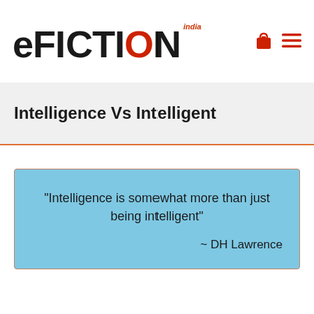eFICTION India
Intelligence Vs Intelligent
“Intelligence is somewhat more than just being intelligent” ~ DH Lawrence